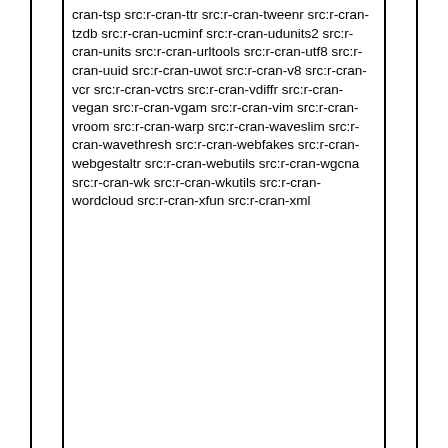cran-tsp src:r-cran-ttr src:r-cran-tweenr src:r-cran-tzdb src:r-cran-ucminf src:r-cran-udunits2 src:r-cran-units src:r-cran-urltools src:r-cran-utf8 src:r-cran-uuid src:r-cran-uwot src:r-cran-v8 src:r-cran-vcr src:r-cran-vctrs src:r-cran-vdiffr src:r-cran-vegan src:r-cran-vgam src:r-cran-vim src:r-cran-vroom src:r-cran-warp src:r-cran-waveslim src:r-cran-wavethresh src:r-cran-webfakes src:r-cran-webgestaltr src:r-cran-webutils src:r-cran-wgcna src:r-cran-wk src:r-cran-wkutils src:r-cran-wordcloud src:r-cran-xfun src:r-cran-xml